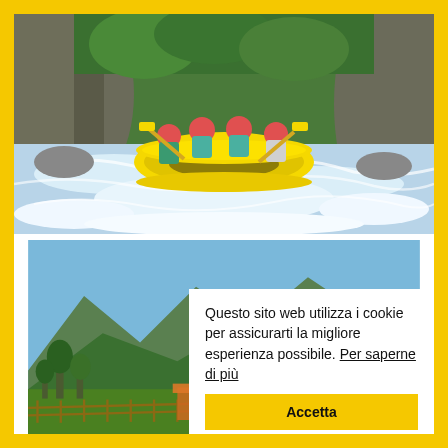[Figure (photo): Group of people white water rafting in a yellow inflatable raft on a fast-moving river with rocky canyon walls and lush green trees in the background. All wearing red helmets and life jackets.]
[Figure (photo): Mountain landscape with green hills, trees, and a fence in the foreground under a blue sky. Partially obscured by a cookie consent overlay.]
Questo sito web utilizza i cookie per assicurarti la migliore esperienza possibile. Per saperne di più
Accetta